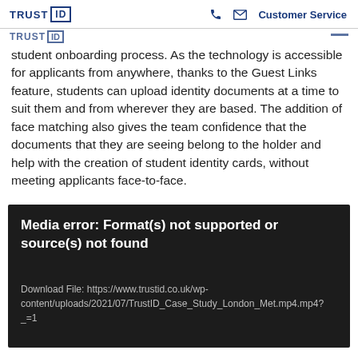TRUST ID  [phone icon] [mail icon]  Customer Service
student onboarding process. As the technology is accessible for applicants from anywhere, thanks to the Guest Links feature, students can upload identity documents at a time to suit them and from wherever they are based. The addition of face matching also gives the team confidence that the documents that they are seeing belong to the holder and help with the creation of student identity cards, without meeting applicants face-to-face.
[Figure (other): Black media player error box with text: 'Media error: Format(s) not supported or source(s) not found' and download link: 'Download File: https://www.trustid.co.uk/wp-content/uploads/2021/07/TrustID_Case_Study_London_Met.mp4.mp4?_=1']